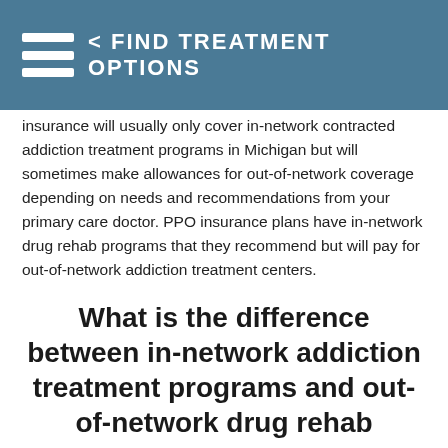< FIND TREATMENT OPTIONS
insurance will usually only cover in-network contracted addiction treatment programs in Michigan but will sometimes make allowances for out-of-network coverage depending on needs and recommendations from your primary care doctor. PPO insurance plans have in-network drug rehab programs that they recommend but will pay for out-of-network addiction treatment centers.
What is the difference between in-network addiction treatment programs and out-of-network drug rehab centers?
In-network drug and alcohol treatment programs in Michigan are contracted with the insurance providers to offer treatment at a lower cost, most of the time,  than out-of-network providers. Drug rehab centers in Michigan that are in-network with a health